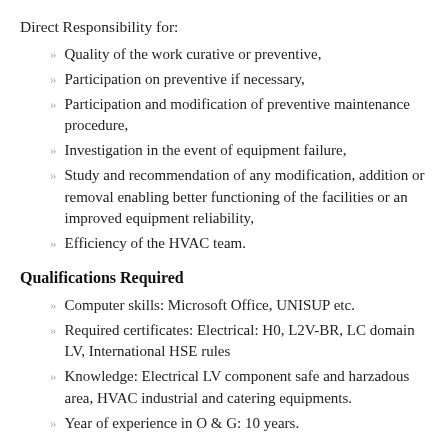Direct Responsibility for:
Quality of the work curative or preventive,
Participation on preventive if necessary,
Participation and modification of preventive maintenance procedure,
Investigation in the event of equipment failure,
Study and recommendation of any modification, addition or removal enabling better functioning of the facilities or an improved equipment reliability,
Efficiency of the HVAC team.
Qualifications Required
Computer skills: Microsoft Office, UNISUP etc.
Required certificates: Electrical: H0, L2V-BR, LC domain LV, International HSE rules
Knowledge: Electrical LV component safe and harzadous area, HVAC industrial and catering equipments.
Year of experience in O & G: 10 years.